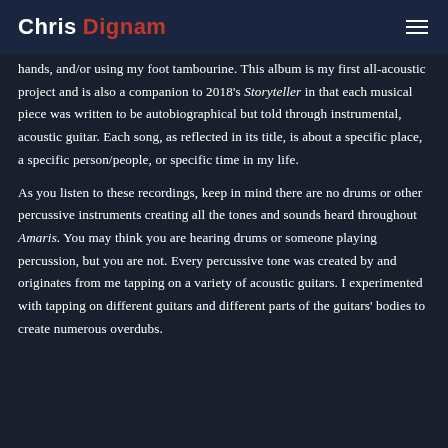Chris Dignam
hands, and/or using my foot tambourine. This album is my first all-acoustic project and is also a companion to 2018's Storyteller in that each musical piece was written to be autobiographical but told through instrumental, acoustic guitar. Each song, as reflected in its title, is about a specific place, a specific person/people, or specific time in my life.
As you listen to these recordings, keep in mind there are no drums or other percussive instruments creating all the tones and sounds heard throughout Amaris. You may think you are hearing drums or someone playing percussion, but you are not. Every percussive tone was created by and originates from me tapping on a variety of acoustic guitars. I experimented with tapping on different guitars and different parts of the guitars' bodies to create numerous overdubs.